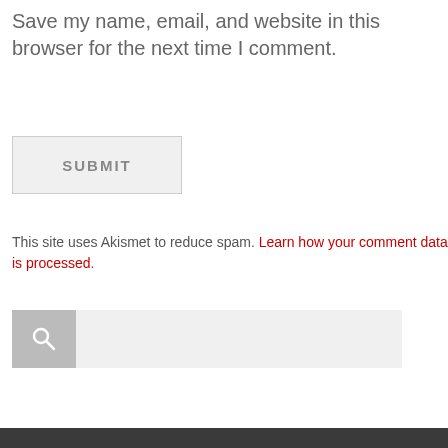Save my name, email, and website in this browser for the next time I comment.
[Figure (screenshot): A SUBMIT button with light gray background and gray uppercase text]
This site uses Akismet to reduce spam. Learn how your comment data is processed.
[Figure (screenshot): A search bar with a dark gray magnifying glass icon box on the left and a light gray input field on the right]